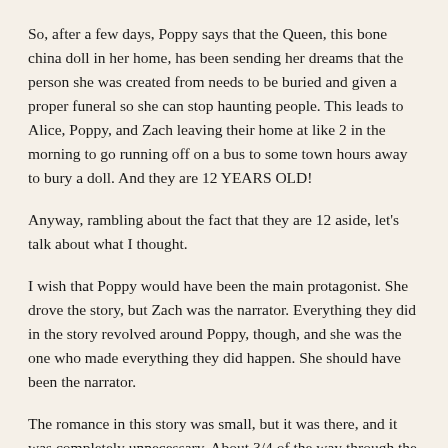So, after a few days, Poppy says that the Queen, this bone china doll in her home, has been sending her dreams that the person she was created from needs to be buried and given a proper funeral so she can stop haunting people.  This leads to Alice, Poppy, and Zach leaving their home at like 2 in the morning to go running off on a bus to some town hours away to bury a doll.  And they are 12 YEARS OLD!
Anyway, rambling about the fact that they are 12 aside, let's talk about what I thought.
I wish that Poppy would have been the main protagonist.  She drove the story, but Zach was the narrator.  Everything they did in the story revolved around Poppy, though, and she was the one who made everything they did happen.  She should have been the narrator.
The romance in this story was small, but it was there, and it was completely unnecessary.  About 3/4 of the way through the book, Zach suddenly decides out of nowhere that he wants to go on a date with Alice, who's wanted to date him for a while, and again I